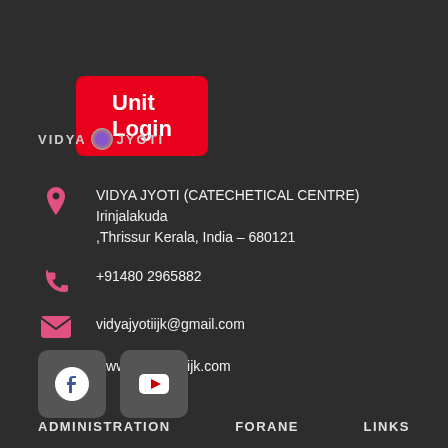Unit Login
[Figure (logo): VIDYA JYOTI logo with circular emblem between the two words]
VIDYA JYOTI (CATECHETICAL CENTRE) Irinjalakuda ,Thrissur Kerala, India – 680121
+91480 2965882
vidyajyotiijk@gmail.com
www.vidyajyotiijk.com
[Figure (illustration): Facebook and YouTube social media icon buttons]
ADMINISTRATION   FORANE   LINKS